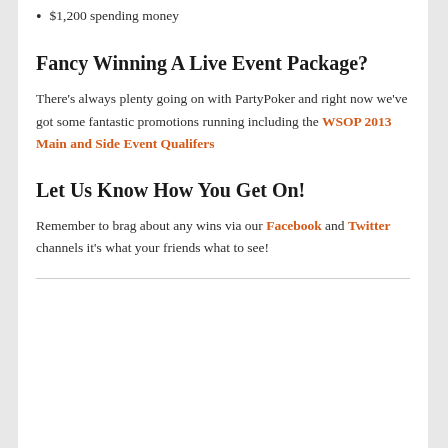$1,200 spending money
Fancy Winning A Live Event Package?
There's always plenty going on with PartyPoker and right now we've got some fantastic promotions running including the WSOP 2013 Main and Side Event Qualifers
Let Us Know How You Get On!
Remember to brag about any wins via our Facebook and Twitter channels it's what your friends what to see!